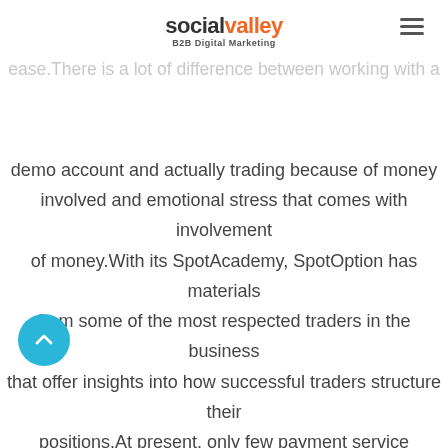socialvalley B2B Digital Marketing
nitrogen pumping equipment helps to make such liquids lighter and easier to flow through the pipes with ease.There is a lot of difference between working with a demo account and actually trading because of money involved and emotional stress that comes with involvement of money.With its SpotAcademy, SpotOption has materials from some of the most respected traders in the business that offer insights into how successful traders structure their positions.At present, only few payment service providers have managed to establish the required business setup to support such operations until the necessary regulatory requirements are met.When you are looking at a chart with a time frame of 1 hour, each candlestick represents a 1 hour of market movements.For the more advanced traders have